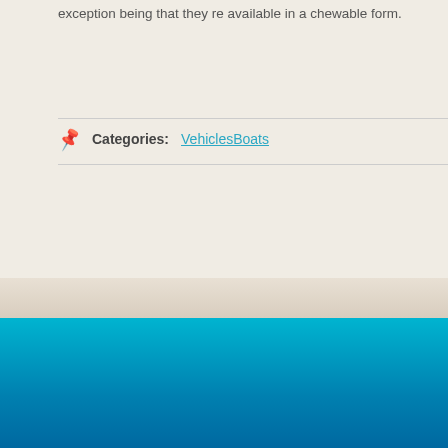exception being that they re available in a chewable form.
Categories: VehiclesBoats